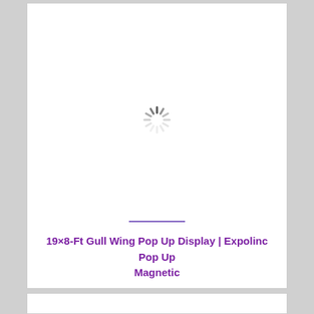[Figure (other): Loading spinner icon (grey dashed circle/spokes indicating loading state)]
19×8-Ft Gull Wing Pop Up Display | Expolinc Pop Up Magnetic